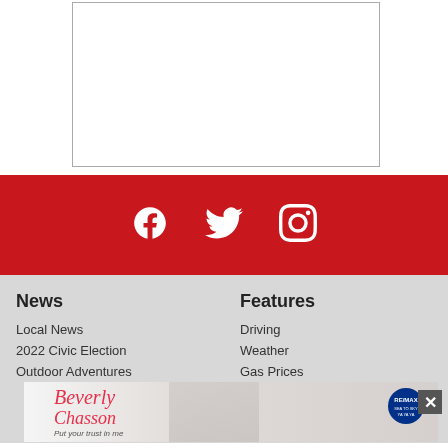[Figure (other): White bordered rectangular box (advertisement placeholder) at top of page]
[Figure (infographic): Red social media bar with white Facebook, Twitter, and Instagram icons]
News
Local News
2022 Civic Election
Outdoor Adventures
Features
Driving
Weather
Gas Prices
[Figure (photo): Advertisement banner for Beverly Chasson RE/MAX realtor with woman in red jacket, script name text, and RE/MAX logo]